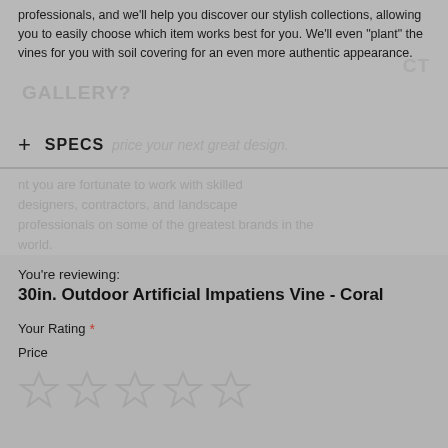professionals, and we'll help you discover our stylish collections, allowing you to easily choose which item works best for you. We'll even "plant" the vines for you with soil covering for an even more authentic appearance.
+ SPECS
You're reviewing:
30in. Outdoor Artificial Impatiens Vine - Coral
Your Rating *
Price
[Figure (illustration): Five empty/outline star icons for rating selection]